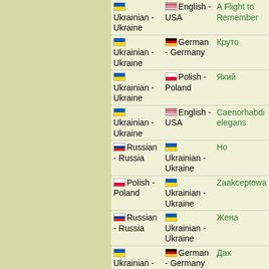| From | To | Title |
| --- | --- | --- |
| 🇺🇦 Ukrainian - Ukraine | 🇺🇸 English - USA | A Flight to Remember |
| 🇺🇦 Ukrainian - Ukraine | 🇩🇪 German - Germany | Круто |
| 🇺🇦 Ukrainian - Ukraine | 🇵🇱 Polish - Poland | Який |
| 🇺🇦 Ukrainian - Ukraine | 🇺🇸 English - USA | Caenorhabdi elegans |
| 🇷🇺 Russian - Russia | 🇺🇦 Ukrainian - Ukraine | Но |
| 🇵🇱 Polish - Poland | 🇺🇦 Ukrainian - Ukraine | Zaakceptowa |
| 🇷🇺 Russian - Russia | 🇺🇦 Ukrainian - Ukraine | Жена |
| 🇺🇦 Ukrainian - Ukraine | 🇩🇪 German - Germany | Дах |
| 🇷🇺 Russian - Russia | 🇺🇸 English - USA | Живой |
| 🇺🇦 Ukrainian - Ukraine | 🇵🇱 Polish - Poland | Я |
| 🇵🇱 Polish - Poland | 🇺🇦 Ukrainian - Ukraine | Gałąź |
| 🇺🇦 Ukrainian - Ukraine | 🇵🇱 Polish - Poland | Будівля |